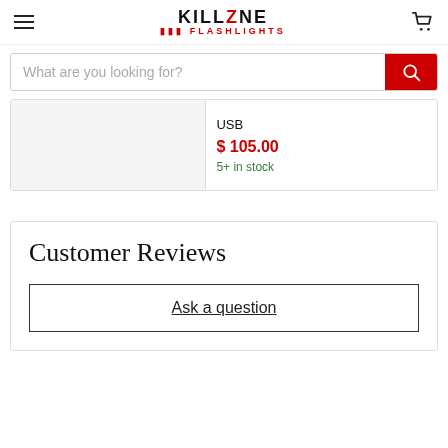Killzone Flashlights
What are you looking for?
USB
$ 105.00
5+ in stock
Customer Reviews
Ask a question